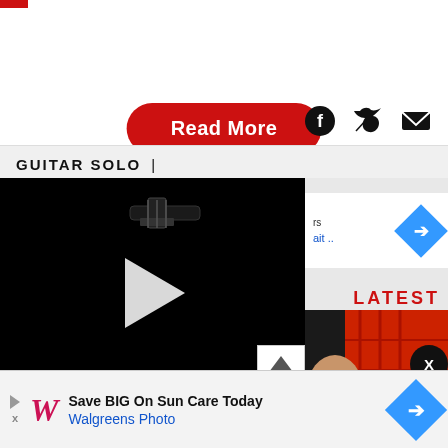[Figure (screenshot): Red 'Read More' button centered on white background]
[Figure (illustration): Social media icons: Facebook, Twitter, Email]
GUITAR SOLO |
[Figure (screenshot): Video player showing dark guitar image with play button overlay, 305x205px black area]
[Figure (screenshot): Right sidebar with ad banner showing blue diamond icon and blue text, and LATEST label in red]
[Figure (photo): Close-up photo of hands playing electric guitar, showing fretboard and body]
[Figure (screenshot): Bottom advertisement banner: Save BIG On Sun Care Today - Walgreens Photo with blue diamond icon]
[Figure (screenshot): X close button (black circle) and scroll-up arrow button]